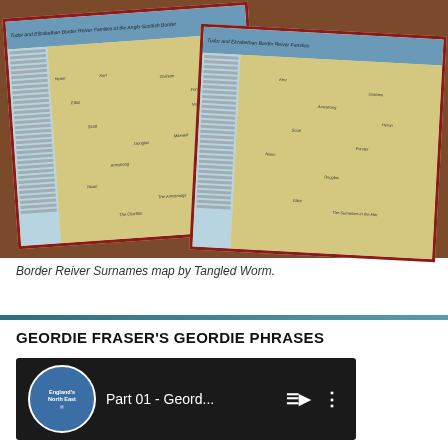[Figure (photo): Photograph of two Border Reiver Surnames maps by Tangled Worm, laid on a wooden table, showing Tudor and Elizabethan border reiver families. Maps have blue headers, green/yellow map centers, red borders, and blue side columns with text.]
Border Reiver Surnames map by Tangled Worm.
GEORDIE FRASER'S GEORDIE PHRASES
[Figure (screenshot): YouTube video thumbnail showing a video titled 'Part 01 - Geord...' with the England's North East channel icon on the left, and playlist and options icons on the right, on a dark background.]